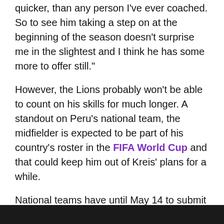quicker, than any person I've ever coached. So to see him taking a step on at the beginning of the season doesn't surprise me in the slightest and I think he has some more to offer still."
However, the Lions probably won't be able to count on his skills for much longer. A standout on Peru's national team, the midfielder is expected to be part of his country's roster in the FIFA World Cup and that could keep him out of Kreis' plans for a while.
National teams have until May 14 to submit their squads for the World Cup and players are expected to report to training shortly after that. With the tournament happening until mid-July, Yoshi could miss as many as nine MLS matches in the period.
[Figure (other): Dark bar at bottom of page, partial image/video thumbnail]